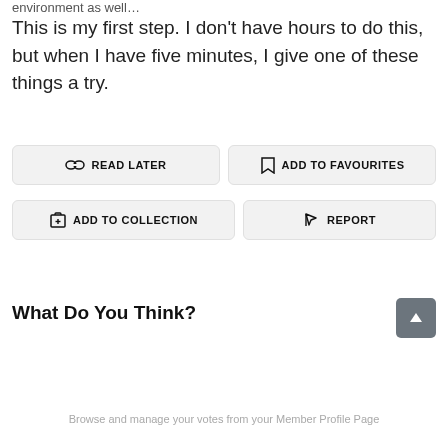environment as well…
This is my first step. I don't have hours to do this, but when I have five minutes, I give one of these things a try.
READ LATER
ADD TO FAVOURITES
ADD TO COLLECTION
REPORT
What Do You Think?
4 Points
Browse and manage your votes from your Member Profile Page